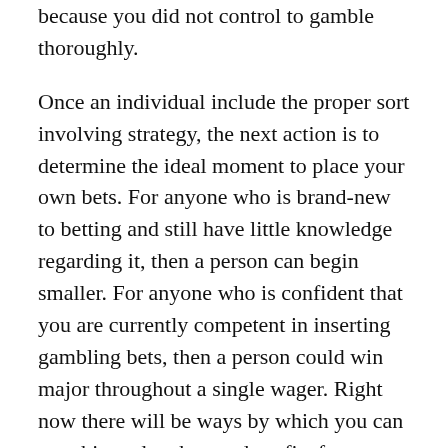because you did not control to gamble thoroughly.
Once an individual include the proper sort involving strategy, the next action is to determine the ideal moment to place your own bets. For anyone who is brand-new to betting and still have little knowledge regarding it, then a person can begin smaller. For anyone who is confident that you are currently competent in inserting gambling bets, then a person could win major throughout a single wager. Right now there will be ways by which you can earn big and make good profits from online betting.
Many of the online-betting strategies are certainly not very reliable. Intended for example, if an individual tells you that you can become some sort of millionaire overnight, next do not listen to these people. It is not possible intended for you to be able